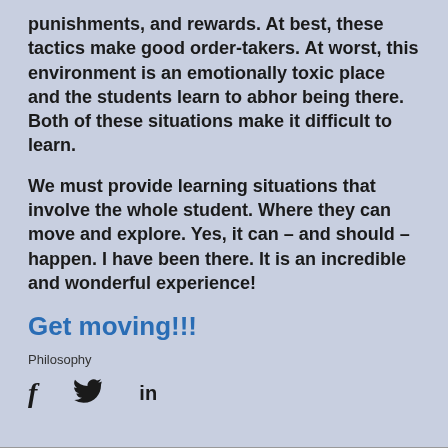punishments, and rewards. At best, these tactics make good order-takers. At worst, this environment is an emotionally toxic place and the students learn to abhor being there. Both of these situations make it difficult to learn.
We must provide learning situations that involve the whole student. Where they can move and explore. Yes, it can – and should – happen. I have been there. It is an incredible and wonderful experience!
Get moving!!!
Philosophy
[Figure (other): Social media icons: Facebook (f), Twitter (bird), LinkedIn (in)]